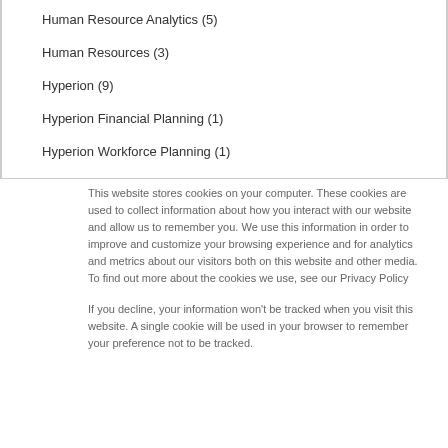Human Resource Analytics (5)
Human Resources (3)
Hyperion (9)
Hyperion Financial Planning (1)
Hyperion Workforce Planning (1)
This website stores cookies on your computer. These cookies are used to collect information about how you interact with our website and allow us to remember you. We use this information in order to improve and customize your browsing experience and for analytics and metrics about our visitors both on this website and other media. To find out more about the cookies we use, see our Privacy Policy
If you decline, your information won't be tracked when you visit this website. A single cookie will be used in your browser to remember your preference not to be tracked.